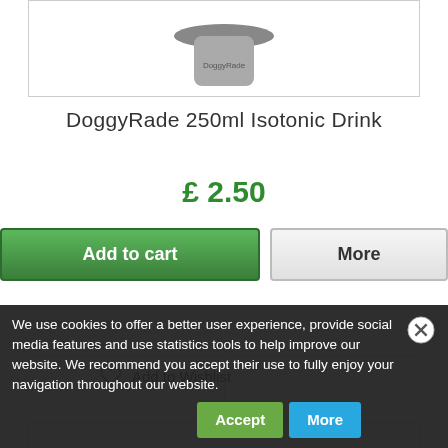[Figure (photo): Product image of DoggyRade 250ml Isotonic Drink bottle, partially visible at top]
DoggyRade 250ml Isotonic Drink
£ 2.50
Add to cart
More
Add to Wishlist
We use cookies to offer a better user experience, provide social media features and use statistics tools to help improve our website. We recommend you accept their use to fully enjoy your navigation throughout our website.
Accept
More